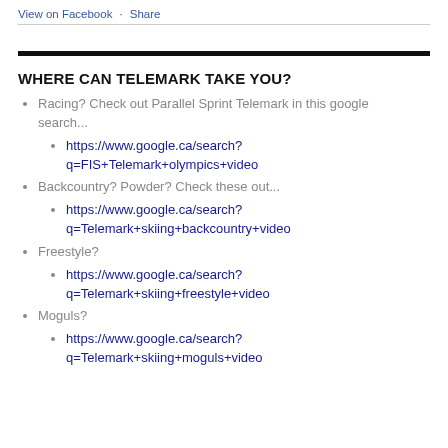View on Facebook · Share
WHERE CAN TELEMARK TAKE YOU?
Racing? Check out Parallel Sprint Telemark in this google search...
https://www.google.ca/search?q=FIS+Telemark+olympics+video
Backcountry? Powder? Check these out...
https://www.google.ca/search?q=Telemark+skiing+backcountry+video
Freestyle?
https://www.google.ca/search?q=Telemark+skiing+freestyle+video
Moguls?
https://www.google.ca/search?q=Telemark+skiing+moguls+video